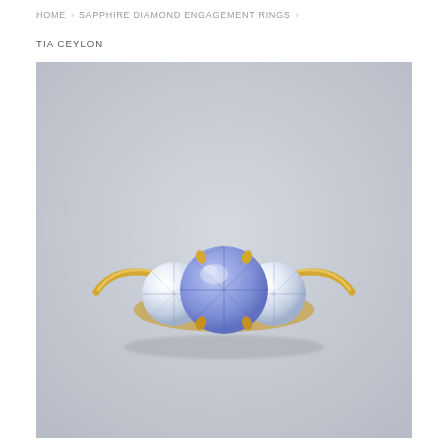HOME › SAPPHIRE DIAMOND ENGAGEMENT RINGS ›
TIA CEYLON
[Figure (photo): A gold three-stone engagement ring with a round light blue/lavender Ceylon sapphire center stone flanked by two round brilliant cut diamonds, photographed against a soft grey background.]